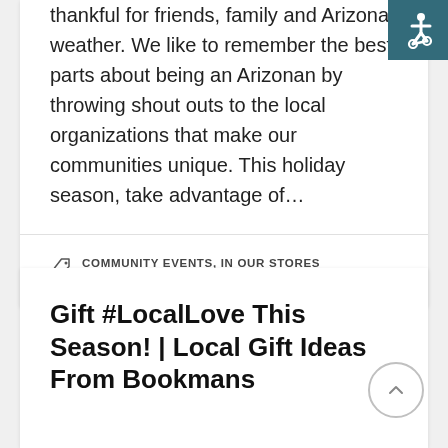thankful for friends, family and Arizona weather. We like to remember the best parts about being an Arizonan by throwing shout outs to the local organizations that make our communities unique. This holiday season, take advantage of…
COMMUNITY EVENTS, IN OUR STORES
Gift #LocalLove This Season! | Local Gift Ideas From Bookmans